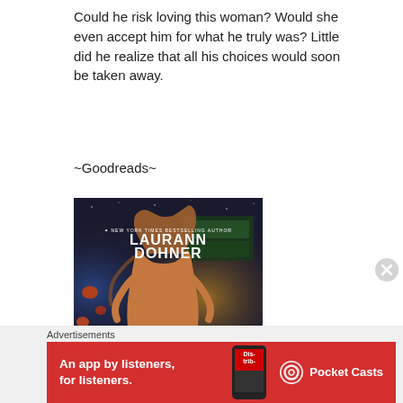Could he risk loving this woman? Would she even accept him for what he truly was? Little did he realize that all his choices would soon be taken away.
~Goodreads~
[Figure (photo): Book cover for Laurann Dohner, New York Times Bestselling Author. Shows a muscular figure with long hair viewed from behind, set against a sci-fi space background with the text LAURANN DOHNER in large white letters.]
Advertisements
[Figure (infographic): Red Pocket Casts advertisement banner reading: An app by listeners, for listeners. Shows a phone with the app and the Pocket Casts logo.]